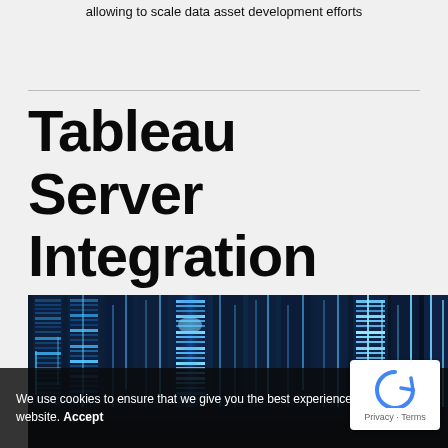allowing to scale data asset development efforts
Tableau Server Integration
[Figure (photo): Dark server room with blue-lit server racks arranged in rows, viewed from a low angle perspective.]
We use cookies to ensure that we give you the best experience on our website. Accept